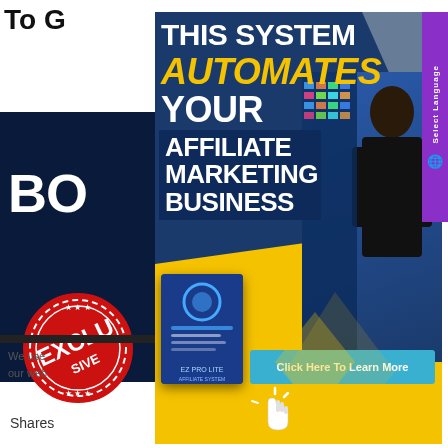To G
BO
[Figure (illustration): EXCLUSIVE red stamp/seal]
[Figure (infographic): Popup modal advertisement: 'THIS SYSTEM AUTOMATES YOUR AFFILIATE MARKETING BUSINESS' with person silhouette, product box, and 'Click Here To Learn More' button]
We use ... our web...
Shares
Select Language